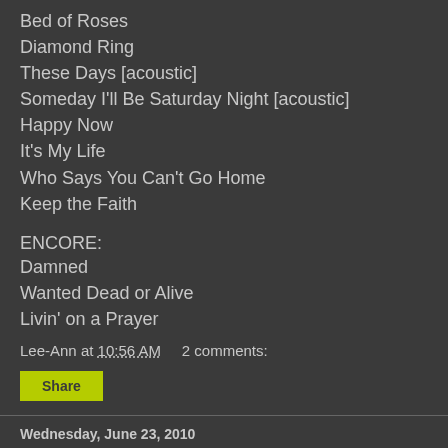Bed of Roses
Diamond Ring
These Days [acoustic]
Someday I'll Be Saturday Night [acoustic]
Happy Now
It's My Life
Who Says You Can't Go Home
Keep the Faith
ENCORE:
Damned
Wanted Dead or Alive
Livin' on a Prayer
Lee-Ann at 10:56 AM   2 comments:
Share
Wednesday, June 23, 2010
Bon Jovi to play 70 songs at the O2; Richie & Bobby visit Marshall